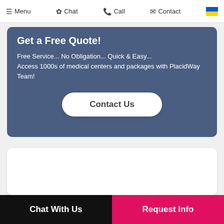Menu  Chat  Call  Contact
Get a Free Quote!
Free Service... No Obligation... Quick & Easy... Access 1000s of medical centers and packages with PlacidWay Team!
Contact Us
[Figure (other): White card / content area below the quote card]
Chat With Us  |  Request Info